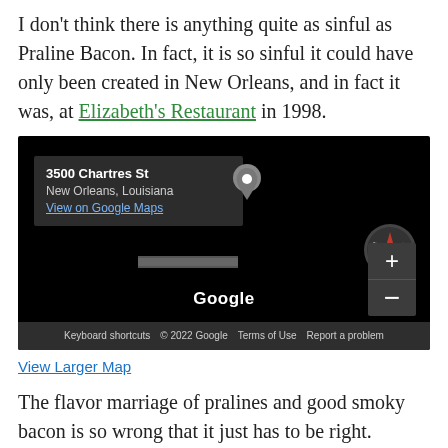I don't think there is anything quite as sinful as Praline Bacon. In fact, it is so sinful it could have only been created in New Orleans, and in fact it was, at Elizabeth's Restaurant in 1998.
[Figure (screenshot): Embedded Google Maps screenshot showing the location of 3500 Chartres St, New Orleans, Louisiana. The map has a dark background, a location info box in the upper left, a compass icon, zoom controls, the Google logo, and a footer bar with keyboard shortcuts, copyright, terms of use, and report a problem links.]
View Larger Map
The flavor marriage of pralines and good smoky bacon is so wrong that it just has to be right. Cochon Butcher (restaurant website) has done Praline Bacon but taken away as much as it